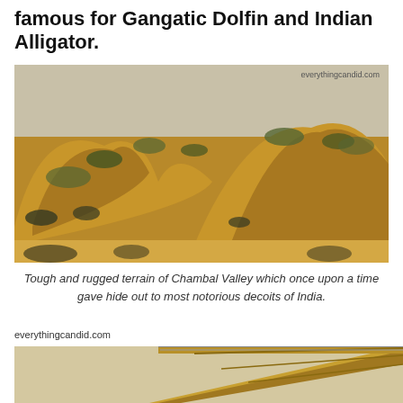famous for Gangatic Dolfin and Indian Alligator.
[Figure (photo): Tough and rugged terrain of Chambal Valley with eroded sandy mounds and sparse vegetation, watermark: everythingcandid.com]
Tough and rugged terrain of Chambal Valley which once upon a time gave hide out to most notorious decoits of India.
everythingcandid.com
[Figure (photo): Underside of a bridge structure, partial view showing bridge girders and railing against sky.]